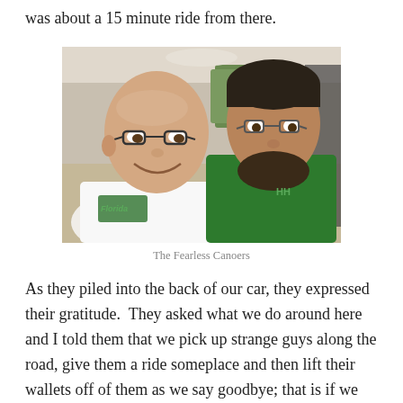was about a 15 minute ride from there.
[Figure (photo): Two men sitting in the back seat of a car, smiling at the camera. The man on the left wears a white Florida t-shirt and glasses. The man on the right wears a green shirt and glasses.]
The Fearless Canoers
As they piled into the back of our car, they expressed their gratitude.  They asked what we do around here and I told them that we pick up strange guys along the road, give them a ride someplace and then lift their wallets off of them as we say goodbye; that is if we take them to their